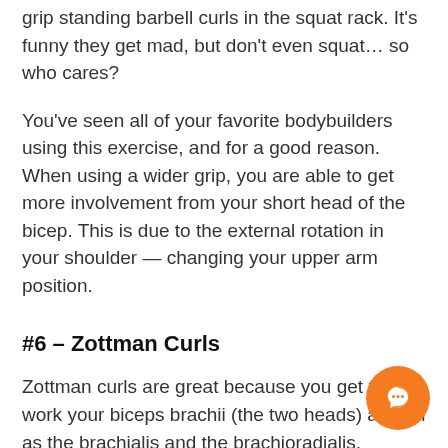grip standing barbell curls in the squat rack. It's funny they get mad, but don't even squat… so who cares?
You've seen all of your favorite bodybuilders using this exercise, and for a good reason. When using a wider grip, you are able to get more involvement from your short head of the bicep. This is due to the external rotation in your shoulder — changing your upper arm position.
#6 – Zottman Curls
Zottman curls are great because you get to work your biceps brachii (the two heads) as well as the brachialis and the brachioradialis.
To perform a Zottman curl, use a dumbbell to perform a curl with a supinated grip. As you reach the top of the curl, you will pronate your palms and then lower the weight. So in